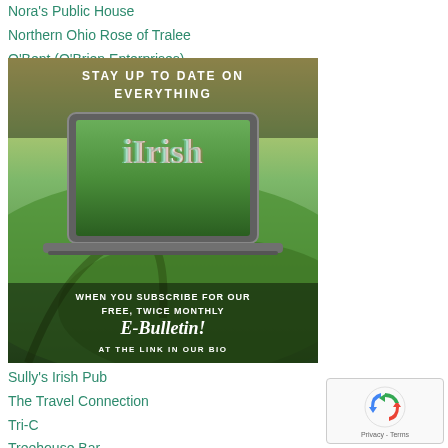Nora's Public House
Northern Ohio Rose of Tralee
O'Bent (O'Brien Enterprises)
[Figure (infographic): iIrish advertisement banner: 'STAY UP TO DATE ON EVERYTHING' with a laptop showing aerial Irish countryside with 'iIrish' text, and subscribe text 'WHEN YOU SUBSCRIBE FOR OUR FREE, TWICE MONTHLY E-Bulletin! AT THE LINK IN OUR BIO']
Sully's Irish Pub
The Travel Connection
Tri-C
Treehouse Bar
[Figure (logo): Google reCAPTCHA badge with Privacy - Terms text]